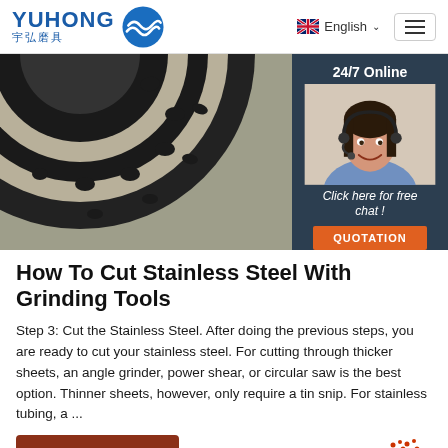YUHONG 宇弘磨具 | English | Menu
[Figure (photo): Close-up photo of a diamond grinding cup wheel (disc) with segmented abrasive sections on a dark metal body, partially visible from top-left. Overlaid on the right is a customer service chat widget showing a female agent with headset on a dark navy background, text '24/7 Online', 'Click here for free chat!', and an orange 'QUOTATION' button.]
How To Cut Stainless Steel With Grinding Tools
Step 3: Cut the Stainless Steel. After doing the previous steps, you are ready to cut your stainless steel. For cutting through thicker sheets, an angle grinder, power shear, or circular saw is the best option. Thinner sheets, however, only require a tin snip. For stainless tubing, a ...